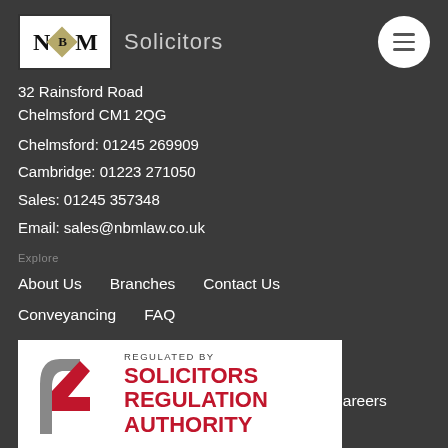[Figure (logo): NBM Solicitors logo with diamond B motif and text 'Solicitors']
32 Rainsford Road
Chelmsford CM1 2QG
Chelmsford: 01245 269909
Cambridge: 01223 271050
Sales: 01245 357348
Email: sales@nbmlaw.co.uk
Explore
About Us
Branches
Contact Us
Conveyancing
FAQ
Guide
Videos
Learn
Legal
GDPR
Privacy
Careers
[Figure (logo): Solicitors Regulation Authority badge - regulated by SRA logo with red arrow motif]